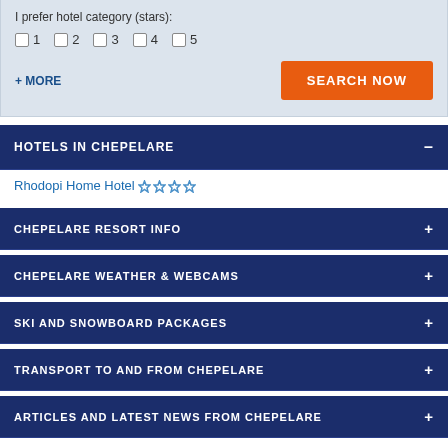I prefer hotel category (stars):
□1  □2  □3  □4  □5
+ MORE
SEARCH NOW
HOTELS IN CHEPELARE  –
Rhodopi Home Hotel ✦✦✦✦
CHEPELARE RESORT INFO  +
CHEPELARE WEATHER & WEBCAMS  +
SKI AND SNOWBOARD PACKAGES  +
TRANSPORT TO AND FROM CHEPELARE  +
ARTICLES AND LATEST NEWS FROM CHEPELARE  +